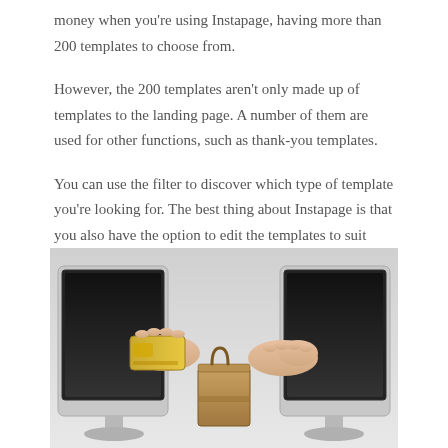money when you're using Instapage, having more than 200 templates to choose from.
However, the 200 templates aren't only made up of templates to the landing page. A number of them are used for other functions, such as thank-you templates.
You can use the filter to discover which type of template you're looking for. The best thing about Instapage is that you also have the option to edit the templates to suit your theme.
[Figure (photo): Two computer monitors facing each other with hands emerging from the screens — one hand holding a gold credit card, the other holding a brown shopping bag — on a light gray gradient background, representing online commerce.]